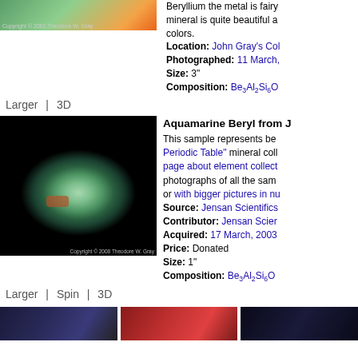[Figure (photo): Top photo of beryllium mineral specimen with green/orange coloring, copyright 2001 Theodore W. Gray]
Beryllium the metal is fairy mineral is quite beautiful a colors. Location: John Gray's Col Photographed: 11 March, Size: 3" Composition: Be3Al2Si6O
Larger | 3D
[Figure (photo): Aquamarine Beryl mineral crystal on black background, copyright 2008 Theodore W. Gray]
Aquamarine Beryl from J
This sample represents be Periodic Table" mineral coll page about element collect photographs of all the sam or with bigger pictures in nu
Source: Jensan Scientifics
Contributor: Jensan Scier
Acquired: 17 March, 2003
Price: Donated
Size: 1"
Composition: Be3Al2Si6O
Larger | Spin | 3D
[Figure (photo): Bottom thumbnail 1 - dark blue toned image]
[Figure (photo): Bottom thumbnail 2 - red toned image]
[Figure (photo): Bottom thumbnail 3 - dark image]